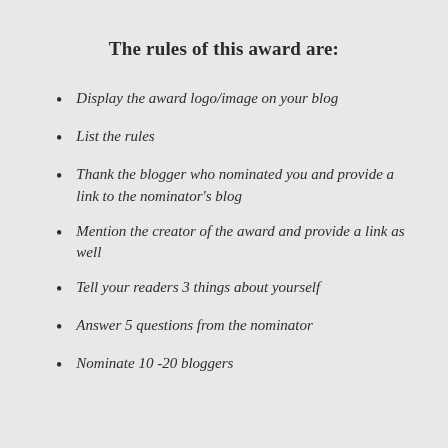The rules of this award are:
Display the award logo/image on your blog
List the rules
Thank the blogger who nominated you and provide a link to the nominator's blog
Mention the creator of the award and provide a link as well
Tell your readers 3 things about yourself
Answer 5 questions from the nominator
Nominate 10 -20 bloggers